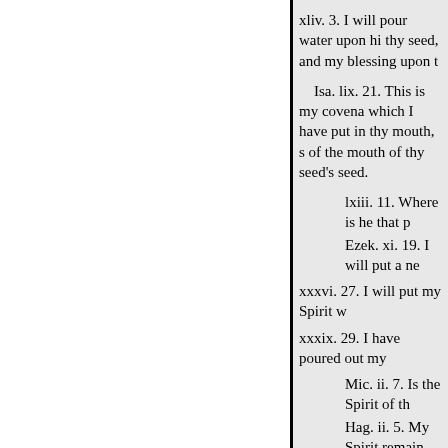xliv. 3. I will pour water upon hi thy seed, and my blessing upon t
Isa. lix. 21. This is my covena which I have put in thy mouth, s of the mouth of thy seed's seed.
lxiii. 11. Where is he that p
Ezek. xi. 19. I will put a ne
xxxvi. 27. I will put my Spirit w
xxxix. 29. I have poured out my
Mic. ii. 7. Is the Spirit of th
Hag. ii. 5. My Spirit remain
Zec. iv. 6. Thus saith the word o shall ye prevail.
xii. 10. I will pour upon the hous supplication.
Matt. iii. 11. He shall baptize y
John ii. 5. Except a man be born
Ver. 6. That which is born of the